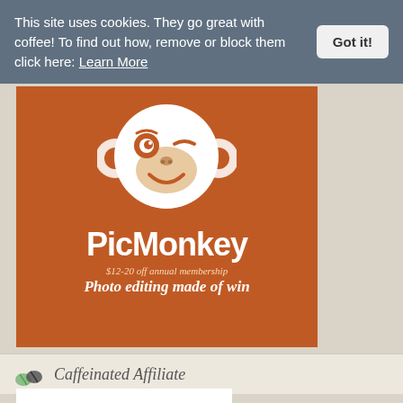This site uses cookies. They go great with coffee! To find out how, remove or block them click here: Learn More
Got it!
[Figure (logo): PicMonkey advertisement banner with orange background, white monkey logo, 'PicMonkey' in bold white text, '$12-20 off annual membership' subtitle, and 'Photo editing made of win' tagline]
Caffeinated Affiliate
[Figure (other): White box/partial image at bottom of page]